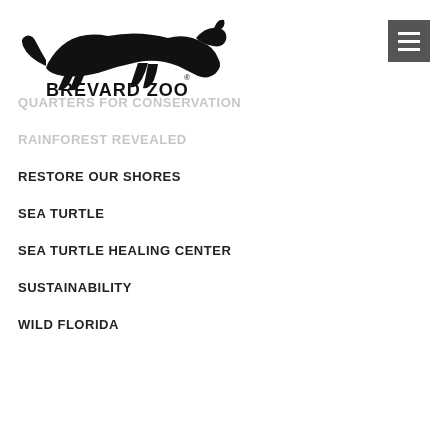[Figure (logo): Brevard Zoo logo with running cheetah silhouette above 'BREVARD ZOO' text]
[Figure (other): Hamburger menu button (three horizontal lines) on dark grey square background, top right corner]
QUARTERS FOR CONSERVATION
RAINFOREST REVEALED
RESTORE OUR SHORES
SEA TURTLE
SEA TURTLE HEALING CENTER
SUSTAINABILITY
WILD FLORIDA